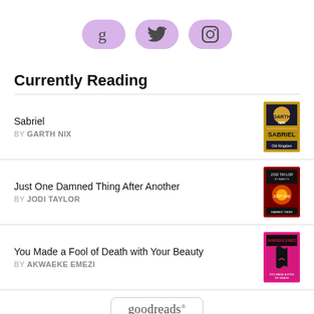[Figure (infographic): Three social media icon buttons with rounded rectangle shapes in light purple/lavender color: Goodreads (g), Twitter (bird), Instagram (camera)]
Currently Reading
Sabriel BY GARTH NIX
Just One Damned Thing After Another BY JODI TAYLOR
You Made a Fool of Death with Your Beauty BY AKWAEKE EMEZI
[Figure (logo): Goodreads logo in a rounded rectangle border]